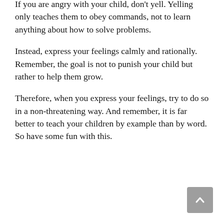If you are angry with your child, don't yell. Yelling only teaches them to obey commands, not to learn anything about how to solve problems.
Instead, express your feelings calmly and rationally. Remember, the goal is not to punish your child but rather to help them grow.
Therefore, when you express your feelings, try to do so in a non-threatening way. And remember, it is far better to teach your children by example than by word. So have some fun with this.